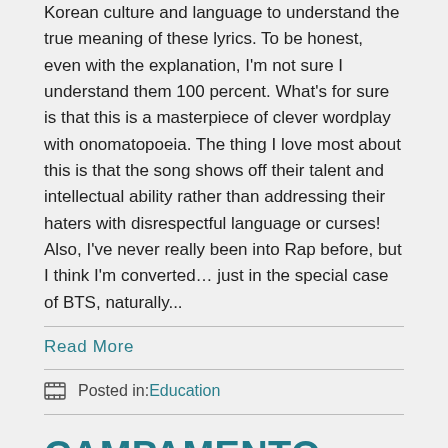Korean culture and language to understand the true meaning of these lyrics. To be honest, even with the explanation, I'm not sure I understand them 100 percent. What's for sure is that this is a masterpiece of clever wordplay with onomatopoeia. The thing I love most about this is that the song shows off their talent and intellectual ability rather than addressing their haters with disrespectful language or curses! Also, I've never really been into Rap before, but I think I'm converted… just in the special case of BTS, naturally...
Read More
Posted in: Education
CAMPAMENTO COREANO with BTS Academy
Posted January 16, 2021